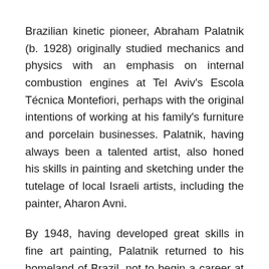Brazilian kinetic pioneer, Abraham Palatnik (b. 1928) originally studied mechanics and physics with an emphasis on internal combustion engines at Tel Aviv's Escola Técnica Montefiori, perhaps with the original intentions of working at his family's furniture and porcelain businesses. Palatnik, having always been a talented artist, also honed his skills in painting and sketching under the tutelage of local Israeli artists, including the painter, Aharon Avni.
By 1948, having developed great skills in fine art painting, Palatnik returned to his homeland of Brazil, not to begin a career at his family